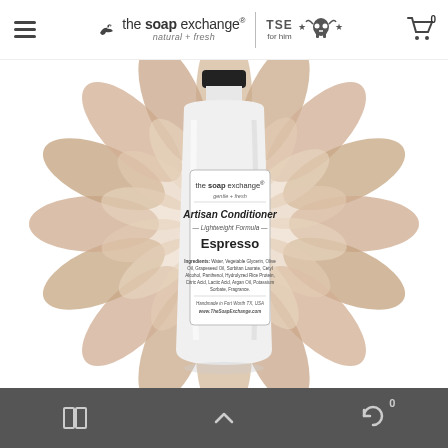the soap exchange | TSE for him — navigation header with hamburger menu and cart icon showing 0
[Figure (photo): White plastic bottle of Artisan Conditioner Espresso Lightweight Formula by the soap exchange, on a floral background with daisy-like petals in beige/tan tones. Label reads: Ingredients: Water, Vegetable Glycerin, Olive Oil, Grapeseed Oil, Sorbitan Laurate, Cetyl Alcohol, Panthenol, Hydrolyzed Rice Protein, Citric Acid, Lactic Acid, Argan Oil, Potassium Sorbate, Fragrance. Handmade in Fort Worth TX, USA www.TheSoapExchange.com]
Bottom navigation bar with grid icon, chevron up icon, and refresh icon with badge 0